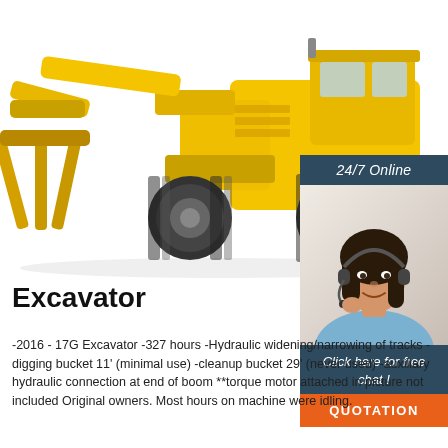[Figure (photo): Large yellow wheel loader / excavator with grapple fork attachment, photographed against a white background]
[Figure (photo): Sidebar with dark navy banner reading '24/7 Online', photo of a smiling female customer service agent wearing a headset, navy banner reading 'Click here for free chat!', and orange button reading 'QUOTATION']
Excavator
-2016 - 17G Excavator -327 hours -Hydraulic widening/narrowing of tracks -digging bucket 11' (minimal use) -cleanup bucket 29' (never used) -auxiliary hydraulic connection at end of boom **torque motor attached in picture not included Original owners. Most hours on machine were idling.